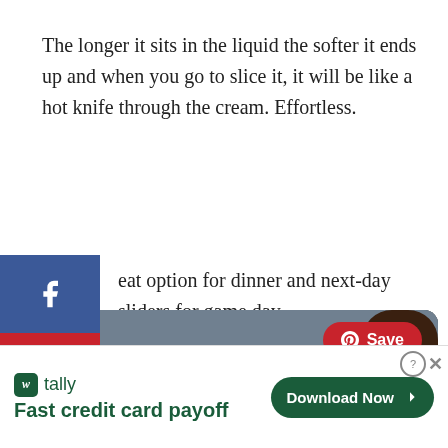The longer it sits in the liquid the softer it ends up and when you go to slice it, it will be like a hot knife through the cream. Effortless.
eat option for dinner and next-day sliders for game day.
[Figure (photo): Close-up photo of sliced braised/smoked meat (brisket or short rib) on a dark surface, with a Pinterest Save button overlay]
[Figure (screenshot): Advertisement banner for Tally app - Fast credit card payoff, with Download Now button and close button]